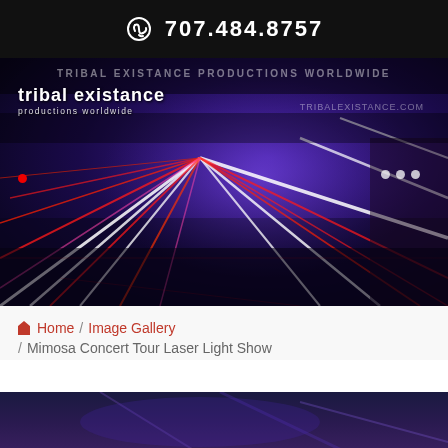707.484.8757
[Figure (photo): Laser light show concert photo with colorful beams of red and white lasers crossing over a dark crowd. Tribal Existance Productions Worldwide logo overlay in top-left. URL overlay text visible.]
Home / Image Gallery / Mimosa Concert Tour Laser Light Show
[Figure (photo): Partial view of another laser light show image at the bottom of the page, dark purple/blue tones.]